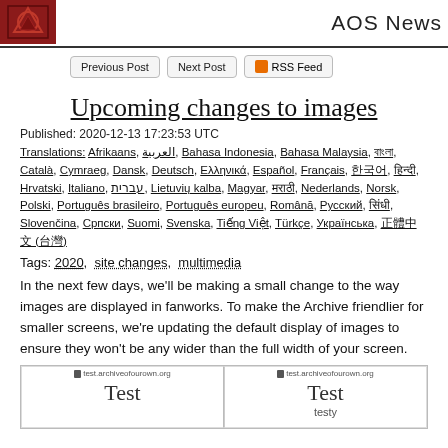AOS News
Upcoming changes to images
Published: 2020-12-13 17:23:53 UTC
Translations: Afrikaans, العربية, Bahasa Indonesia, Bahasa Malaysia, বাংলা, Català, Cymraeg, Dansk, Deutsch, Ελληνικά, Español, Français, 한국어, हिन्दी, Hrvatski, Italiano, עברית, Lietuvių kalba, Magyar, मराठी, Nederlands, Norsk, Polski, Português brasileiro, Português europeu, Română, Русский, सिंधी, Slovenčina, Српски, Suomi, Svenska, Tiếng Việt, Türkçe, Українська, 正體中文 (台灣)
Tags: 2020, site changes, multimedia
In the next few days, we'll be making a small change to the way images are displayed in fanworks. To make the Archive friendlier for smaller screens, we're updating the default display of images to ensure they won't be any wider than the full width of your screen.
[Figure (screenshot): Two side-by-side browser screenshots showing test.archiveofourown.org with a 'Test' page title. Left screenshot shows 'Test' in large text. Right screenshot shows 'Test' with 'testy' subtitle.]